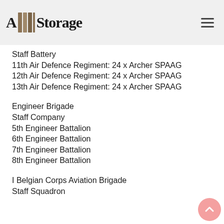A&D Storage
Staff Battery
11th Air Defence Regiment: 24 x Archer SPAAG
12th Air Defence Regiment: 24 x Archer SPAAG
13th Air Defence Regiment: 24 x Archer SPAAG
Engineer Brigade
Staff Company
5th Engineer Battalion
6th Engineer Battalion
7th Engineer Battalion
8th Engineer Battalion
I Belgian Corps Aviation Brigade
Staff Squadron